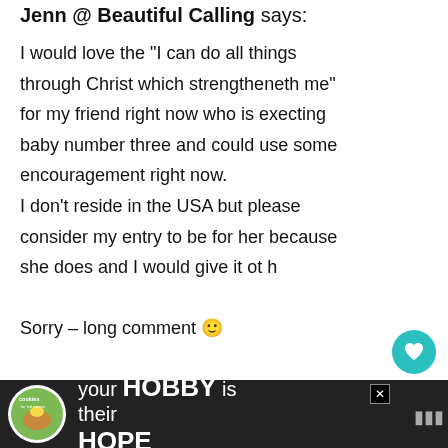Jenn @ Beautiful Calling says:
I would love the "I can do all things through Christ which strengtheneth me" for my friend right now who is execting baby number three and could use some encouragement right now.
I don't reside in the USA but please consider my entry to be for her because she does and I would give it ot h
Sorry – long comment 🙂
[Figure (screenshot): Advertisement bar at bottom: cookies for kid cancer ad with 'your HOBBY is their HOPE' text, and a What's Next panel showing Food Should Taste Good ad]